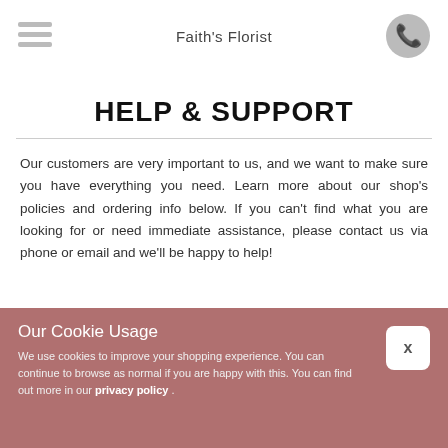Faith's Florist
HELP & SUPPORT
Our customers are very important to us, and we want to make sure you have everything you need. Learn more about our shop's policies and ordering info below. If you can't find what you are looking for or need immediate assistance, please contact us via phone or email and we'll be happy to help!
Our Cookie Usage
We use cookies to improve your shopping experience. You can continue to browse as normal if you are happy with this. You can find out more in our privacy policy .